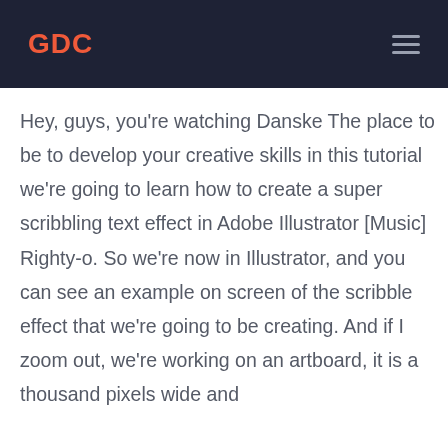GDC
Hey, guys, you're watching Danske The place to be to develop your creative skills in this tutorial we're going to learn how to create a super scribbling text effect in Adobe Illustrator [Music] Righty-o. So we're now in Illustrator, and you can see an example on screen of the scribble effect that we're going to be creating. And if I zoom out, we're working on an artboard, it is a thousand pixels wide and